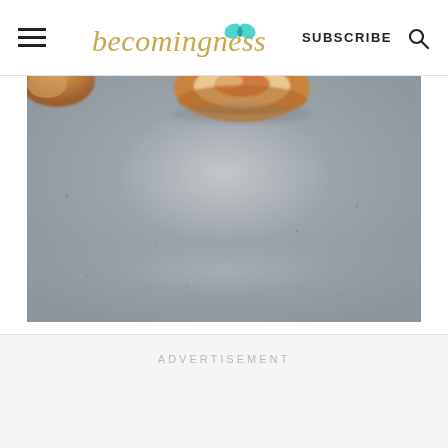becomingness SUBSCRIBE
[Figure (photo): Close-up photo of a baked good (appears to be a small tart or pastry) on a gray speckled surface, shot from slightly above. The food item is near the top center of the image. The surface below is a blurred gray concrete or stone texture.]
ADVERTISEMENT